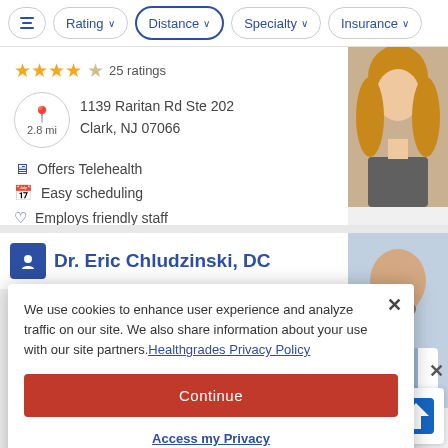Rating | Distance | Specialty | Insurance
★★★★☆ 25 ratings
2.8 mi  1139 Raritan Rd Ste 202  Clark, NJ 07066
Offers Telehealth
Easy scheduling
Employs friendly staff
[Figure (photo): Headshot photo of a woman with long blonde hair wearing a grey top]
Dr. Eric Chludzinski, DC
[Figure (photo): Headshot photo of a bald man with beard wearing a white coat and dark tie]
We use cookies to enhance user experience and analyze traffic on our site. We also share information about your use with our site partners. Healthgrades Privacy Policy
Continue
Access my Privacy Preferences